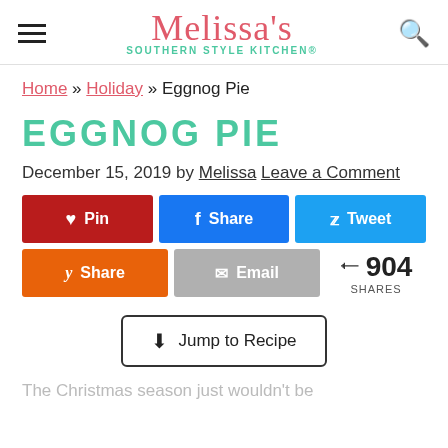Melissa's Southern Style Kitchen®
Home » Holiday » Eggnog Pie
EGGNOG PIE
December 15, 2019 by Melissa Leave a Comment
[Figure (other): Social sharing buttons: Pin (Pinterest, red), Share (Facebook, blue), Tweet (Twitter, light blue), Share (Yummly, orange), Email (gray), 904 SHARES]
[Figure (other): Jump to Recipe button with download arrow icon]
The Christmas season just wouldn't be